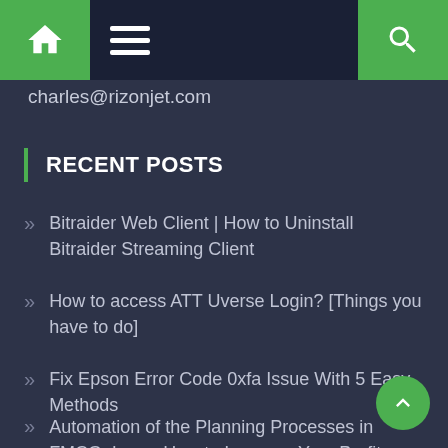Navigation bar with home icon, hamburger menu, and search icon
charles@rizonjet.com
RECENT POSTS
Bitraider Web Client | How to Uninstall Bitraider Streaming Client
How to access ATT Uverse Login? [Things you have to do]
Fix Epson Error Code 0xfa Issue With 5 Easy Methods
Automation of the Planning Processes in FMCG: Learn How to Increase Your Profits by 3%